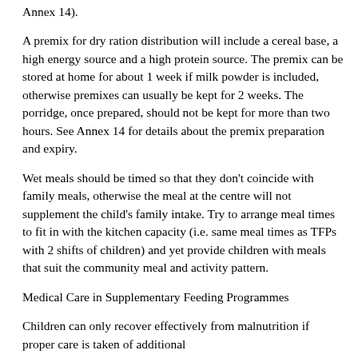Annex 14).
A premix for dry ration distribution will include a cereal base, a high energy source and a high protein source. The premix can be stored at home for about 1 week if milk powder is included, otherwise premixes can usually be kept for 2 weeks. The porridge, once prepared, should not be kept for more than two hours. See Annex 14 for details about the premix preparation and expiry.
Wet meals should be timed so that they don't coincide with family meals, otherwise the meal at the centre will not supplement the child's family intake. Try to arrange meal times to fit in with the kitchen capacity (i.e. same meal times as TFPs with 2 shifts of children) and yet provide children with meals that suit the community meal and activity pattern.
Medical Care in Supplementary Feeding Programmes
Children can only recover effectively from malnutrition if proper care is taken of additional